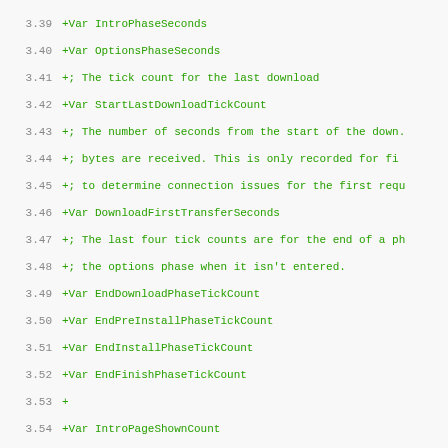[Figure (screenshot): Code diff view showing line numbers 3.39 to 3.70 with green added lines, red removed lines, and one neutral line. Content shows variable declarations and comments in a diff format.]